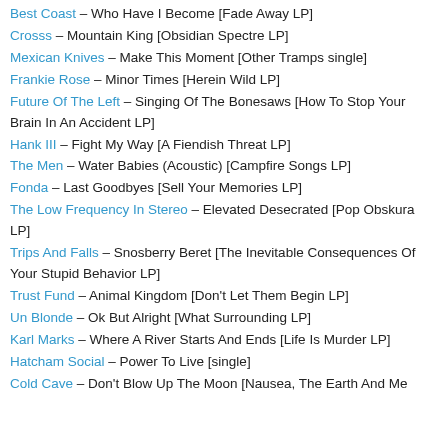Best Coast – Who Have I Become [Fade Away LP]
Crosss – Mountain King [Obsidian Spectre LP]
Mexican Knives – Make This Moment [Other Tramps single]
Frankie Rose – Minor Times [Herein Wild LP]
Future Of The Left – Singing Of The Bonesaws [How To Stop Your Brain In An Accident LP]
Hank III – Fight My Way [A Fiendish Threat LP]
The Men – Water Babies (Acoustic) [Campfire Songs LP]
Fonda – Last Goodbyes [Sell Your Memories LP]
The Low Frequency In Stereo – Elevated Desecrated [Pop Obskura LP]
Trips And Falls – Snosberry Beret [The Inevitable Consequences Of Your Stupid Behavior LP]
Trust Fund – Animal Kingdom [Don't Let Them Begin LP]
Un Blonde – Ok But Alright [What Surrounding LP]
Karl Marks – Where A River Starts And Ends [Life Is Murder LP]
Hatcham Social – Power To Live [single]
Cold Cave – Don't Blow Up The Moon [Nausea, The Earth And Me